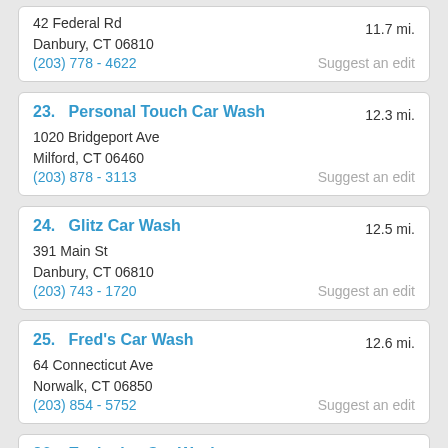42 Federal Rd
Danbury, CT 06810
(203) 778 - 4622
11.7 mi.
Suggest an edit
23. Personal Touch Car Wash
1020 Bridgeport Ave
Milford, CT 06460
(203) 878 - 3113
12.3 mi.
Suggest an edit
24. Glitz Car Wash
391 Main St
Danbury, CT 06810
(203) 743 - 1720
12.5 mi.
Suggest an edit
25. Fred's Car Wash
64 Connecticut Ave
Norwalk, CT 06850
(203) 854 - 5752
12.6 mi.
Suggest an edit
26. Exclusive Car Wash
55 North St
Danbury, CT 06810
(203) 778 - 6545
12.7 mi.
Suggest an edit